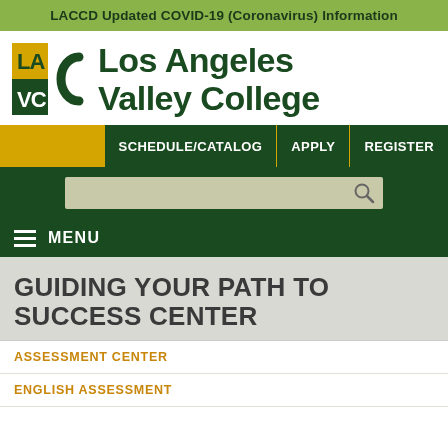LACCD Updated COVID-19 (Coronavirus) Information
[Figure (logo): Los Angeles Valley College (LAVC) logo with green and gold squares and VC letters]
Los Angeles Valley College
SCHEDULE/CATALOG  APPLY  REGISTER
[Figure (screenshot): Search bar with magnifying glass icon on dark green background]
MENU
GUIDING YOUR PATH TO SUCCESS CENTER
ASSESSMENT CENTER
ENGLISH ASSESSMENT